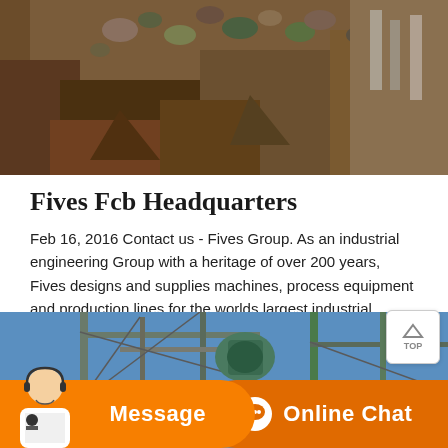[Figure (photo): Industrial machinery with rocks/gravel and metal components, partial top view, brownish tones]
Fives Fcb Headquarters
Feb 16, 2016 Contact us - Fives Group. As an industrial engineering Group with a heritage of over 200 years, Fives designs and supplies machines, process equipment and production lines for the worlds largest industrial players in various sectors such as steel, aerospace and special machining, aluminium, the automotive and manufacturing industries,
[Figure (other): Orange 'Get Price' button with chat bubble icon]
[Figure (photo): Industrial crane or steel structure against blue sky, with overlay message/chat bar at bottom and customer service agent photo]
[Figure (other): Bottom bar with Message and Online Chat buttons, customer service agent photo on left]